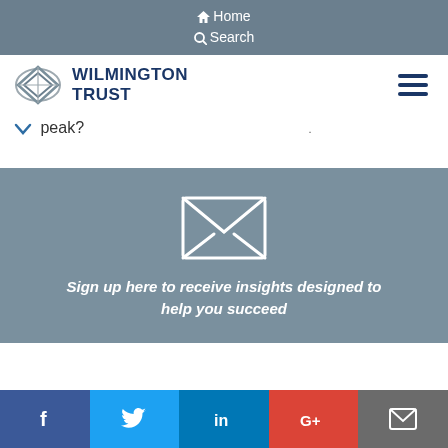Home  Search
[Figure (logo): Wilmington Trust logo with diamond/shield icon and text WILMINGTON TRUST]
peak?
[Figure (infographic): Gray signup section with envelope icon and italic bold text: Sign up here to receive insights designed to help you succeed]
f  (Twitter bird)  in  G+  (email icon) — social sharing bar